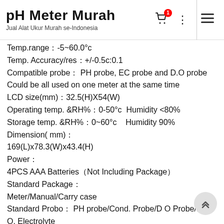pH Meter Murah
Jual Alat Ukur Murah se-Indonesia
Temp.range：-5~60.0°c
Temp. Accuracy/res：+/-0.5c:0.1
Compatible probe： PH probe, EC probe and D.O probe
Could be all used on one meter at the same time
LCD size(mm)：32.5(H)X54(W)
Operating temp. &RH%：0-50°c  Humidity <80%
Storage temp. &RH%：0~60°c    Humidity 90%
Dimension( mm)：
169(L)x78.3(W)x43.4(H)
Power：
4PCS AAA Batteries（Not Including Package）
Standard Package：
Meter/Manual/Carry case
Standard Probo： PH probe/Cond. Probe/D O Probe/D O. Electrolyte
2 Membrane set/cable clip (User can decide which probe to be included as standard)